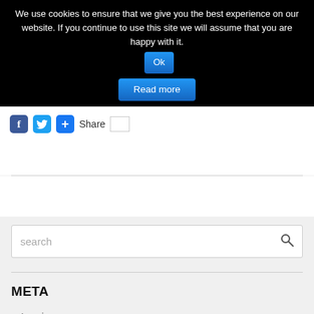We use cookies to ensure that we give you the best experience on our website. If you continue to use this site we will assume that you are happy with it. Ok
Read more
[Figure (screenshot): Social sharing bar with Facebook, Twitter, and +Share buttons]
search
META
Log in
Entries RSS